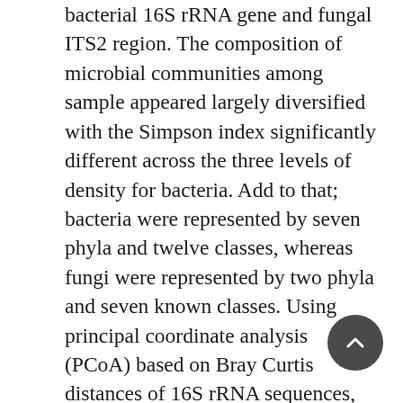bacterial 16S rRNA gene and fungal ITS2 region. The composition of microbial communities among sample appeared largely diversified with the Simpson index significantly different across the three levels of density for bacteria. Add to that; bacteria were represented by seven phyla and twelve classes, whereas fungi were represented by two phyla and seven known classes. Using principal coordinate analysis (PCoA) based on Bray Curtis distances of 16S rRNA sequences, we observed a significant variation between the structure of the bacterial communities depending on insects' density. Moreover, the analysis showed significant correlations between some bacterial taxa and the three classes of insects' density. This study is the first to present a complete overview of the bacterial and fungal communities associated with the gut of EAB base on culture-independent methods, and to correlate those communities with a potential stress